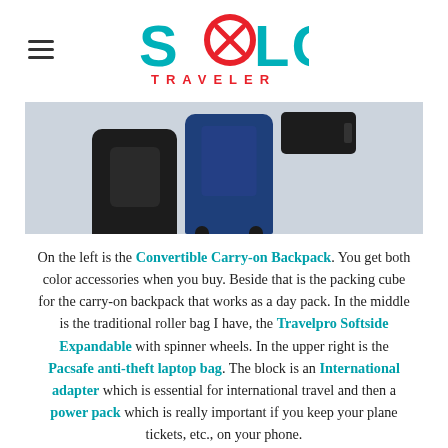SOLO TRAVELER
[Figure (photo): Photo showing travel gear: a black convertible carry-on backpack on the left, a blue Travelpro softside expandable roller bag with spinner wheels in the middle, a Pacsafe anti-theft laptop bag in the upper right, and a black international adapter block.]
On the left is the Convertible Carry-on Backpack. You get both color accessories when you buy. Beside that is the packing cube for the carry-on backpack that works as a day pack. In the middle is the traditional roller bag I have, the Travelpro Softside Expandable with spinner wheels. In the upper right is the Pacsafe anti-theft laptop bag. The block is an International adapter which is essential for international travel and then a power pack which is really important if you keep your plane tickets, etc., on your phone.